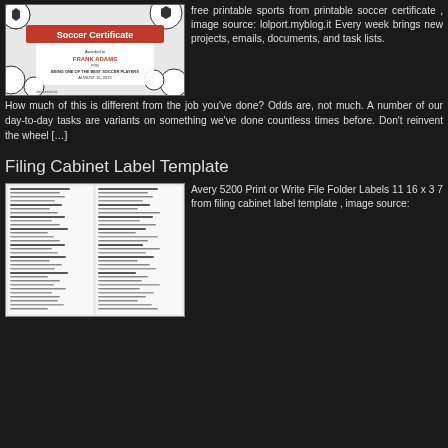[Figure (photo): Soccer Certificate image showing a certificate awarded to FRANK ADAMS for being one of the best soccer players, dated August 15, 2015, with soccer balls in the background. Shutterstock watermark visible.]
free printable sports from printable soccer certificate , image source: lolport.myblog.it  Every week brings new projects, emails, documents, and task lists. How much of this is different from the job you've done? Odds are, not much. A number of our day-to-day tasks are variants on something we've done countless times before. Don't reinvent the wheel […]
Filing Cabinet Label Template
[Figure (photo): Filing cabinet label template showing two columns of labels with text listings. Appears to be an Avery 5200 print or write file folder labels template.]
Avery 5200 Print or Write File Folder Labels 11 16 x 3 7 from filing cabinet label template , image source: